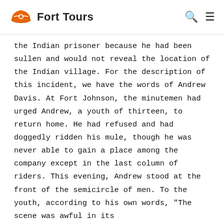Fort Tours
the Indian prisoner because he had been sullen and would not reveal the location of the Indian village. For the description of this incident, we have the words of Andrew Davis. At Fort Johnson, the minutemen had urged Andrew, a youth of thirteen, to return home. He had refused and had doggedly ridden his mule, though he was never able to gain a place among the company except in the last column of riders. This evening, Andrew stood at the front of the semicircle of men. To the youth, according to his own words, "The scene was awful in its